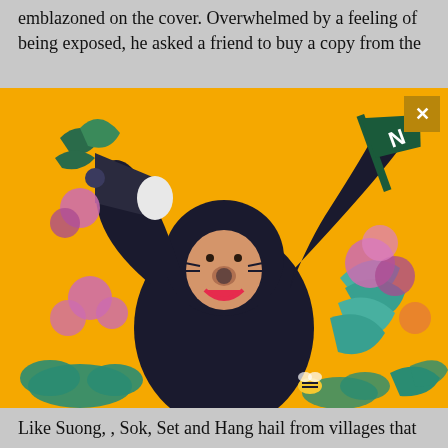emblazoned on the cover. Overwhelmed by a feeling of being exposed, he asked a friend to buy a copy from the
[Figure (illustration): Colorful illustration on a yellow/golden background depicting a dark anthropomorphic monkey/ape character holding a megaphone in one raised arm, with a flag bearing the letter 'N' in the other. The character has a cheerful expression with a pink mouth. Surrounding the figure are decorative floral and cloud motifs in teal, purple, and pink colors. A small bee is visible near the bottom center.]
Like Suong, , Sok, Set and Hang hail from villages that